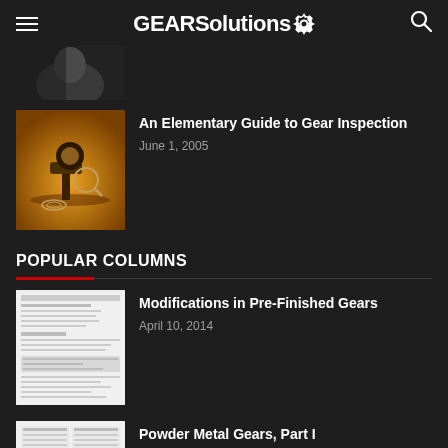GEARSolutions
[Figure (photo): Partial view of a person's face/shoulder in dark background]
[Figure (photo): Orange/yellow themed image of gear inspection equipment with magnifying glass on golden surface]
An Elementary Guide to Gear Inspection
June 1, 2005
POPULAR COLUMNS
[Figure (screenshot): Document/article page thumbnail for Modifications in Pre-Finished Gears]
Modifications in Pre-Finished Gears
April 10, 2014
[Figure (screenshot): Document/article page thumbnail for Powder Metal Gears Part I]
Powder Metal Gears, Part I
September 6, 2012